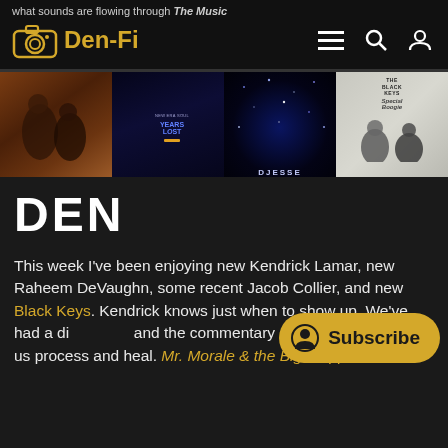what sounds are flowing through The Music Den?
Den-Fi
[Figure (photo): Four music album covers displayed as thumbnails: a couple embracing (warm brown tones), New Era Soul / Years Lost event poster (dark blue), a dark blue sparkle/galaxy background with DJESSE text, and The Black Keys Special Boogie album cover (black and white)]
DEN
This week I've been enjoying new Kendrick Lamar, new Raheem DeVaughn, some recent Jacob Collier, and new Black Keys. Kendrick knows just when to show up. We've had a di... and the commentary of great sto... us process and heal. Mr. Morale & the Big Stepper